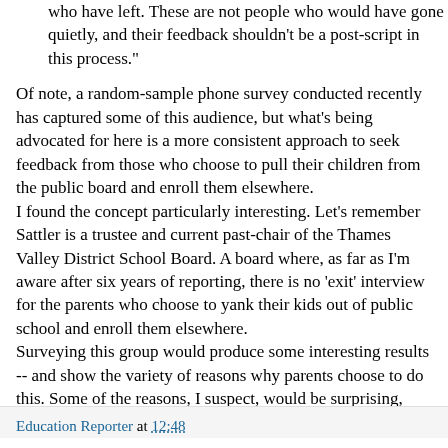who have left. These are not people who would have gone quietly, and their feedback shouldn't be a post-script in this process."
Of note, a random-sample phone survey conducted recently has captured some of this audience, but what's being advocated for here is a more consistent approach to seek feedback from those who choose to pull their children from the public board and enroll them elsewhere.
I found the concept particularly interesting. Let's remember Sattler is a trustee and current past-chair of the Thames Valley District School Board. A board where, as far as I'm aware after six years of reporting, there is no 'exit' interview for the parents who choose to yank their kids out of public school and enroll them elsewhere.
Surveying this group would produce some interesting results -- and show the variety of reasons why parents choose to do this. Some of the reasons, I suspect, would be surprising, even to a board's critics.
Education Reporter at 12:48